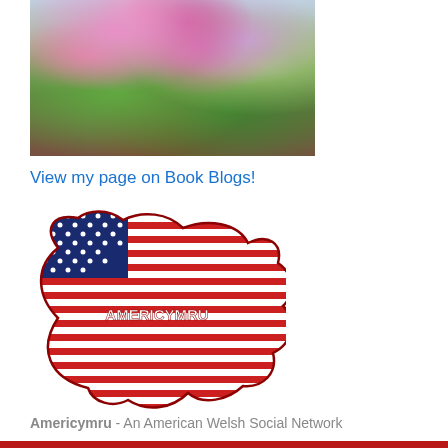[Figure (photo): Flower bouquet photograph with pink blooms and green foliage]
View my page on Book Blogs!
[Figure (logo): Americymru dragon logo — Welsh dragon silhouette with American flag (stars and stripes) pattern, text 'AMERICYMRU' across middle]
Americymru - An American Welsh Social Network
[Figure (photo): Black and white photograph showing a child and adult faces]
Privacy & Cookies: This site uses cookies. By continuing to use this website, you agree to their use.
To find out more, including how to control cookies, see here: Cookie Policy